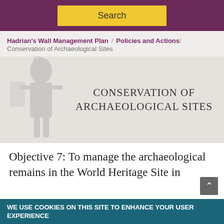Search
Hadrian's Wall Management Plan / Policies and Actions / Conservation of Archaeological Sites
CONSERVATION OF ARCHAEOLOGICAL SITES
Objective 7: To manage the archaeological remains in the World Heritage Site in
WE USE COOKIES ON THIS SITE TO ENHANCE YOUR USER EXPERIENCE
By clicking any link on this page you are giving your consent for us